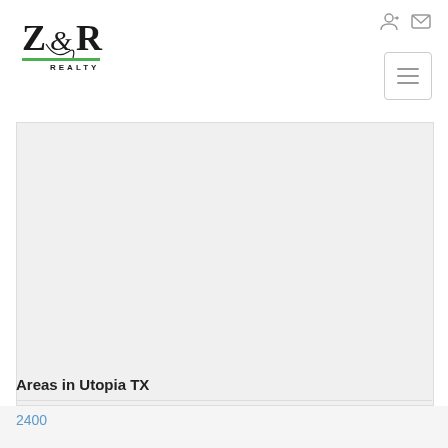[Figure (logo): Z&R Realty logo with stylized script and green underline]
[Figure (other): Map view of Utopia TX area (blank/loading map placeholder)]
Areas in Utopia TX
2400